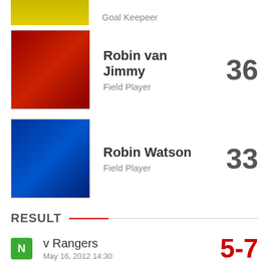[Figure (photo): Partial player photo (yellow jersey, goalkeeper), cropped at top]
Goal Keepeer
[Figure (photo): Robin van Jimmy player photo, red jersey]
Robin van Jimmy
Field Player
36
[Figure (photo): Robin Watson player photo, blue jersey]
Robin Watson
Field Player
33
RESULT
N  v Rangers  May 16, 2012 14:30  5-7
N  v Eirmod  May 11, 2013 14:30  3-5
N  v Rangers  May 11, 2013 14:30  3-5